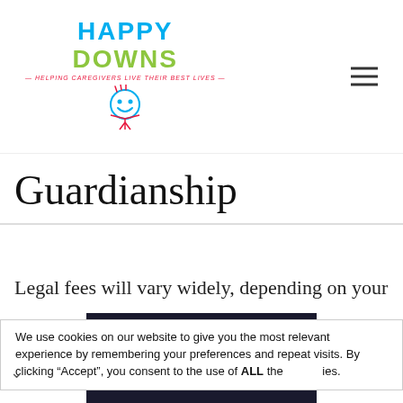[Figure (logo): Happy Downs logo with blue 'HAPPY', green 'DOWNS', red tagline 'HELPING CAREGIVERS LIVE THEIR BEST LIVES', and a smiley face icon]
Guardianship
Legal fees will vary widely, depending on your
We use cookies on our website to give you the most relevant experience by remembering your preferences and repeat visits. By clicking “Accept”, you consent to the use of ALL the cookies.
[Figure (screenshot): Franklin University advertisement: Earn Your Doctorate 100% Online with Learn More button]